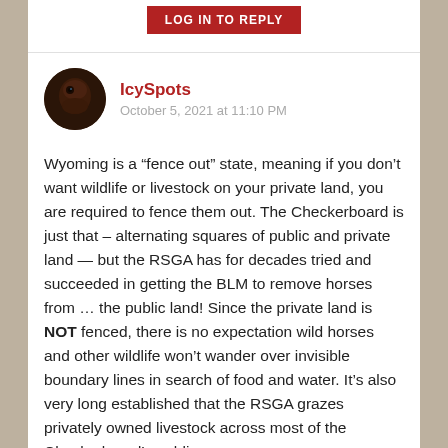LOG IN TO REPLY
IcySpots
October 5, 2021 at 11:10 PM
Wyoming is a “fence out” state, meaning if you don’t want wildlife or livestock on your private land, you are required to fence them out. The Checkerboard is just that – alternating squares of public and private land — but the RSGA has for decades tried and succeeded in getting the BLM to remove horses from … the public land! Since the private land is NOT fenced, there is no expectation wild horses and other wildlife won’t wander over invisible boundary lines in search of food and water. It’s also very long established that the RSGA grazes privately owned livestock across most of the Checkerboard’s public